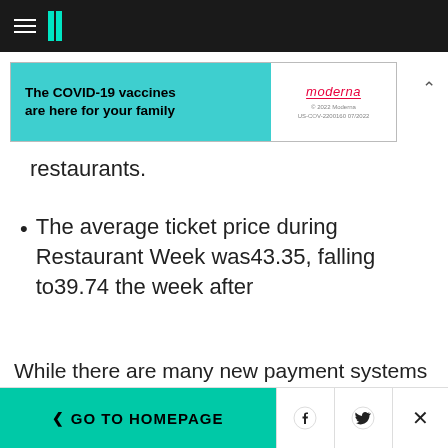HuffPost navigation bar with hamburger menu and logo
[Figure (other): Advertisement banner: 'The COVID-19 vaccines are here for your family' with Moderna logo]
restaurants.
The average ticket price during Restaurant Week was43.35, falling to39.74 the week after
While there are many new payment systems (e.g. PayPal, Square, Ninja, etc.) there are few options that offer comprehensive solutions that manage inventory, pricing, revenue, staff, and guest
< GO TO HOMEPAGE | Facebook | Twitter | X